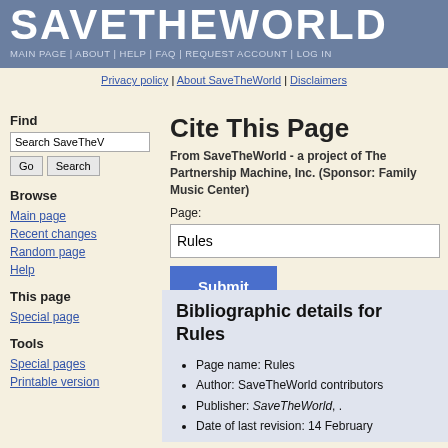SAVETHEWORLD | MAIN PAGE | ABOUT | HELP | FAQ | REQUEST ACCOUNT | LOG IN
Privacy policy | About SaveTheWorld | Disclaimers
Cite This Page
From SaveTheWorld - a project of The Partnership Machine, Inc. (Sponsor: Family Music Center)
Page:
Rules
Find
Browse
Main page
Recent changes
Random page
Help
This page
Special page
Tools
Special pages
Printable version
Bibliographic details for Rules
Page name: Rules
Author: SaveTheWorld contributors
Publisher: SaveTheWorld, .
Date of last revision: 14 February